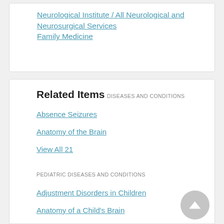Neurological Institute / All Neurological and Neurosurgical Services
Family Medicine
Related Items
DISEASES AND CONDITIONS
Absence Seizures
Anatomy of the Brain
View All 21
PEDIATRIC DISEASES AND CONDITIONS
Adjustment Disorders in Children
Anatomy of a Child's Brain